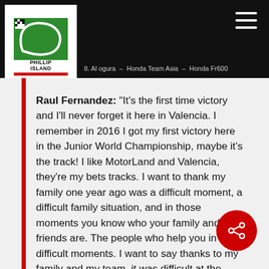Phillip Island Circuit — navigation header
8. Al ogura  –  Honda Team Asia  –  Honda Fr600
Raul Fernandez: "It's the first time victory and I'll never forget it here in Valencia. I remember in 2016 I got my first victory here in the Junior World Championship, maybe it's the track! I like MotorLand and Valencia, they're my bets tracks. I want to thank my family one year ago was a difficult moment, a difficult family situation, and in those moments you know who your family and friends are. The people who help you in the difficult moments. I want to say thanks to my family and my team, it was difficult at the start of the season I"